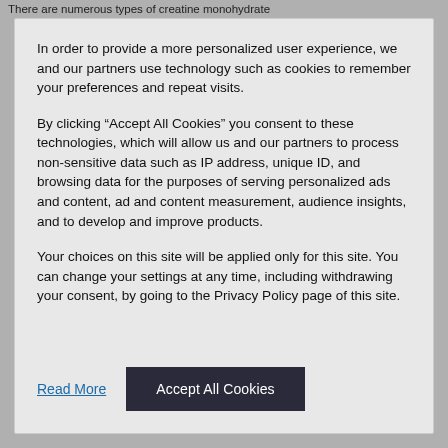There are numerous types of creatine monohydrate
In order to provide a more personalized user experience, we and our partners use technology such as cookies to remember your preferences and repeat visits.
By clicking “Accept All Cookies” you consent to these technologies, which will allow us and our partners to process non-sensitive data such as IP address, unique ID, and browsing data for the purposes of serving personalized ads and content, ad and content measurement, audience insights, and to develop and improve products.
Your choices on this site will be applied only for this site. You can change your settings at any time, including withdrawing your consent, by going to the Privacy Policy page of this site.
Read More
Accept All Cookies